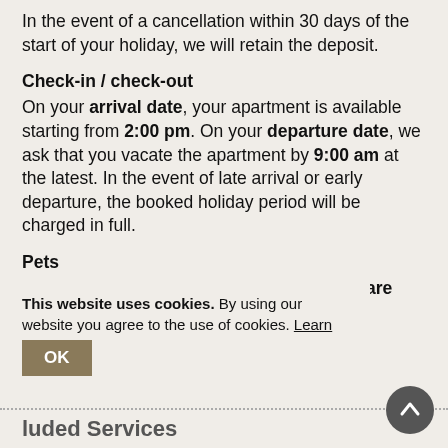In the event of a cancellation within 30 days of the start of your holiday, we will retain the deposit.
Check-in / check-out
On your arrival date, your apartment is available starting from 2:00 pm. On your departure date, we ask that you vacate the apartment by 9:00 am at the latest. In the event of late arrival or early departure, the booked holiday period will be charged in full.
Pets
We ask for your understanding that no pets are allowed.
This website uses cookies. By using our website you agree to the use of cookies. Learn more
Included Services